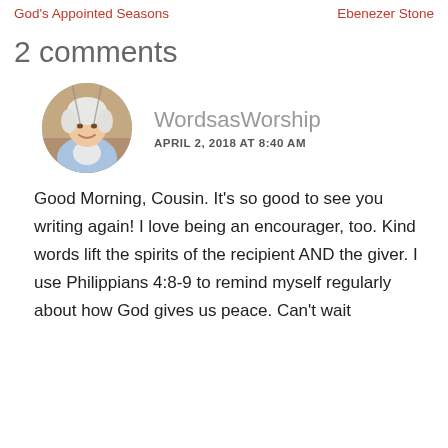God's Appointed Seasons | Ebenezer Stone
2 comments
[Figure (photo): Circular avatar photo of an elderly woman with short white hair, wearing a light blue cardigan, smiling, seated on a swing outdoors.]
WordsasWorship
APRIL 2, 2018 AT 8:40 AM
Good Morning, Cousin. It's so good to see you writing again! I love being an encourager, too. Kind words lift the spirits of the recipient AND the giver. I use Philippians 4:8-9 to remind myself regularly about how God gives us peace. Can't wait